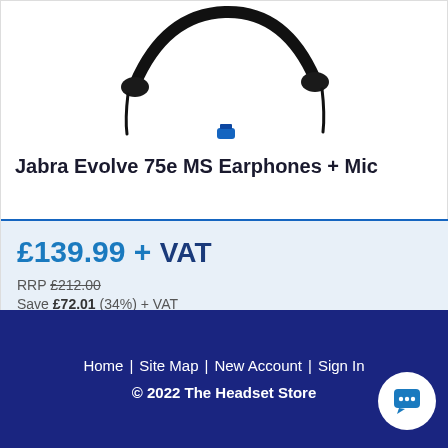[Figure (photo): Jabra Evolve 75e neckband earphones product image on white background]
Jabra Evolve 75e MS Earphones + Mic
£139.99 + VAT
RRP £212.00
Save £72.01 (34%) + VAT
Call 01675 432 123 for Availability
Home | Site Map | New Account | Sign In
© 2022 The Headset Store